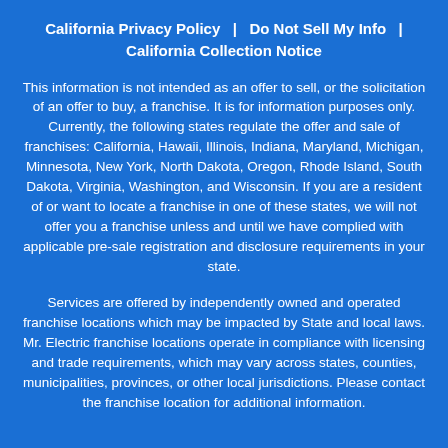California Privacy Policy  |  Do Not Sell My Info  |  California Collection Notice
This information is not intended as an offer to sell, or the solicitation of an offer to buy, a franchise. It is for information purposes only. Currently, the following states regulate the offer and sale of franchises: California, Hawaii, Illinois, Indiana, Maryland, Michigan, Minnesota, New York, North Dakota, Oregon, Rhode Island, South Dakota, Virginia, Washington, and Wisconsin. If you are a resident of or want to locate a franchise in one of these states, we will not offer you a franchise unless and until we have complied with applicable pre-sale registration and disclosure requirements in your state.
Services are offered by independently owned and operated franchise locations which may be impacted by State and local laws. Mr. Electric franchise locations operate in compliance with licensing and trade requirements, which may vary across states, counties, municipalities, provinces, or other local jurisdictions. Please contact the franchise location for additional information.